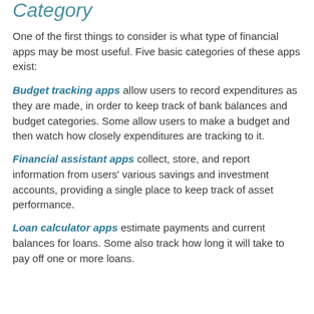Category
One of the first things to consider is what type of financial apps may be most useful. Five basic categories of these apps exist:
Budget tracking apps allow users to record expenditures as they are made, in order to keep track of bank balances and budget categories. Some allow users to make a budget and then watch how closely expenditures are tracking to it.
Financial assistant apps collect, store, and report information from users’ various savings and investment accounts, providing a single place to keep track of asset performance.
Loan calculator apps estimate payments and current balances for loans. Some also track how long it will take to pay off one or more loans.